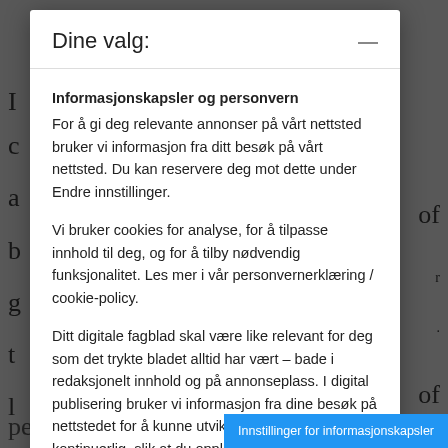Dine valg:
Informasjonskapsler og personvern
For å gi deg relevante annonser på vårt nettsted bruker vi informasjon fra ditt besøk på vårt nettsted. Du kan reservere deg mot dette under Endre innstillinger.
Vi bruker cookies for analyse, for å tilpasse innhold til deg, og for å tilby nødvendig funksjonalitet. Les mer i vår personvernerklæring / cookie-policy.
Ditt digitale fagblad skal være like relevant for deg som det trykte bladet alltid har vært – bade i redaksjonelt innhold og på annonseplass. I digital publisering bruker vi informasjon fra dine besøk på nettstedet for å kunne utvikle produktet kontinuerlig, slik at du opplever det nyttig og relevant.
Godta valgte
Innstillinger
perspective."
Innstillinger for informasjonskapsler